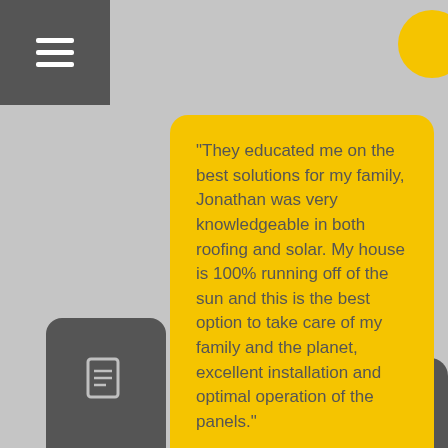[Figure (other): Hamburger menu button, dark gray square top-left]
"They educated me on the best solutions for my family, Jonathan was very knowledgeable in both roofing and solar. My house is 100% running off of the sun and this is the best option to take care of my family and the planet, excellent installation and optimal operation of the panels."
★★★★★
Jhonathan C.
"I have a small family business for years. We were a little sceptical at first since there was no money out of pocket and they